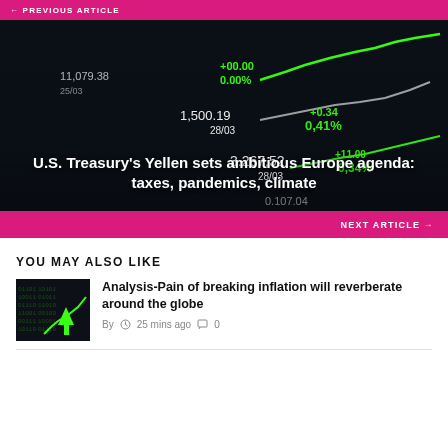← PREVIOUS ARTICLE
[Figure (photo): Dark stock market ticker screen showing green line charts and financial data numbers including 1,500.19 28/03, 3,267.52 28/03, 0.41%, 0.34%, overlaid with article title text]
U.S. Treasury's Yellen sets ambitious Europe agenda: taxes, pandemics, climate
NEXT ARTICLE →
YOU MAY ALSO LIKE
[Figure (photo): Thumbnail image of green stock market arrow going up on dark background with digital numbers]
Analysis-Pain of breaking inflation will reverberate around the globe
By  25 mins ago  0